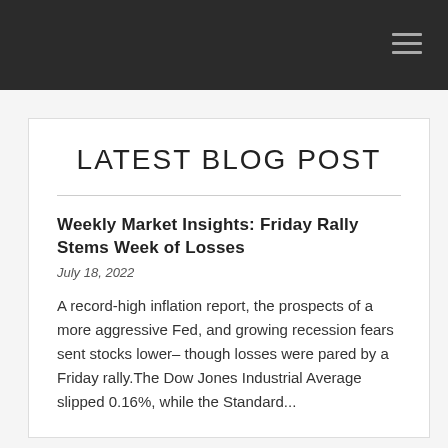LATEST BLOG POST
Weekly Market Insights: Friday Rally Stems Week of Losses
July 18, 2022
A record-high inflation report, the prospects of a more aggressive Fed, and growing recession fears sent stocks lower– though losses were pared by a Friday rally.The Dow Jones Industrial Average slipped 0.16%, while the Standard...